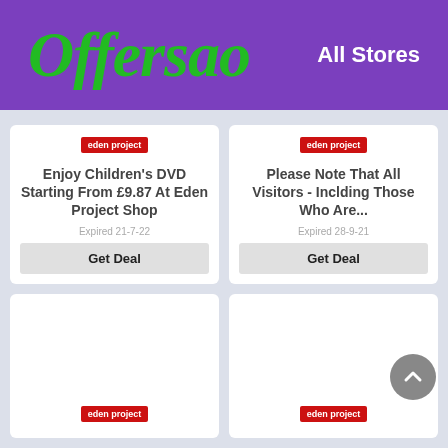[Figure (logo): Offersao logo in green italic bold font on purple background]
All Stores
eden project
Enjoy Children's DVD Starting From £9.87 At Eden Project Shop
Expired 21-7-22
Get Deal
eden project
Please Note That All Visitors - Inclding Those Who Are...
Expired 28-9-21
Get Deal
eden project
eden project